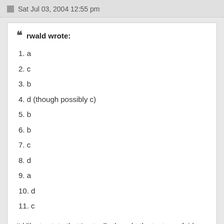Sat Jul 03, 2004 12:55 pm
rwald wrote:
1. a
2. c
3. b
4. d (though possibly c)
5. b
6. b
7. c
8. d
9. a
10. d
11. c
I'd like to state that I actually thought the test was fairly good, considering the original poster. (With the possible exception of question 8.) However, I would like to see the test's author's definitions of materialist, naturalist, semi-idealist, and idealist. By any chance is there a way we